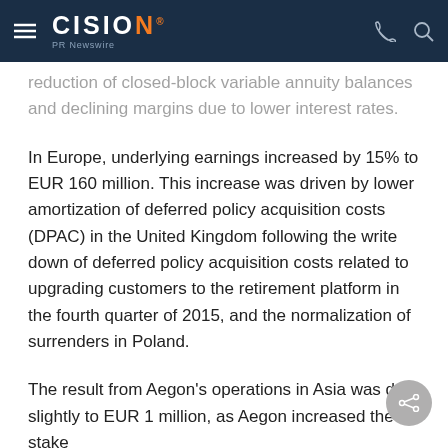CISION PR Newswire
reduction of closed-block variable annuity balances and declining margins due to lower interest rates.
In Europe, underlying earnings increased by 15% to EUR 160 million. This increase was driven by lower amortization of deferred policy acquisition costs (DPAC) in the United Kingdom following the write down of deferred policy acquisition costs related to upgrading customers to the retirement platform in the fourth quarter of 2015, and the normalization of surrenders in Poland.
The result from Aegon's operations in Asia was do slightly to EUR 1 million, as Aegon increased the stake